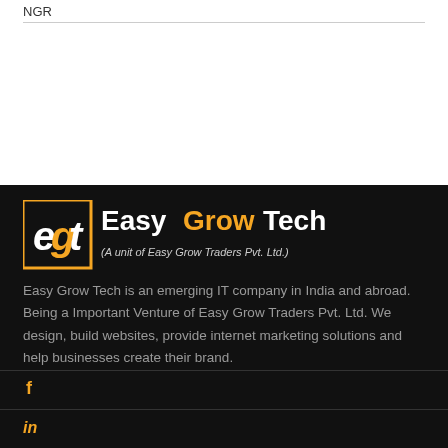NGR
[Figure (logo): Easy Grow Tech logo with icon and text 'Easy Grow Tech (A unit of Easy Grow Traders Pvt. Ltd.)']
Easy Grow Tech is an emerging IT company in India and abroad. Being a Important Venture of Easy Grow Traders Pvt. Ltd. We design, build websites, provide internet marketing solutions and help businesses create their brand.
Facebook icon
LinkedIn icon
Instagram icon